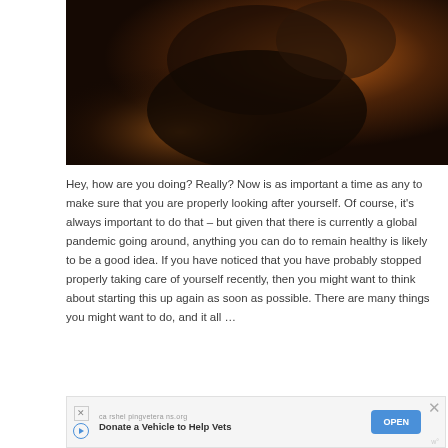[Figure (photo): Dark warm-toned photo with silhouetted figure, amber and orange tones, appears to show a person's torso/arms against a dark background with warm backlight]
Hey, how are you doing? Really? Now is as important a time as any to make sure that you are properly looking after yourself. Of course, it's always important to do that – but given that there is currently a global pandemic going around, anything you can do to remain healthy is likely to be a good idea. If you have noticed that you have probably stopped properly taking care of yourself recently, then you might want to think about starting this up again as soon as possible. There are many things you might want to do, and it all …
[Figure (other): Advertisement banner: carshelpingveterans.org — Donate a Vehicle to Help Vets — OPEN button]